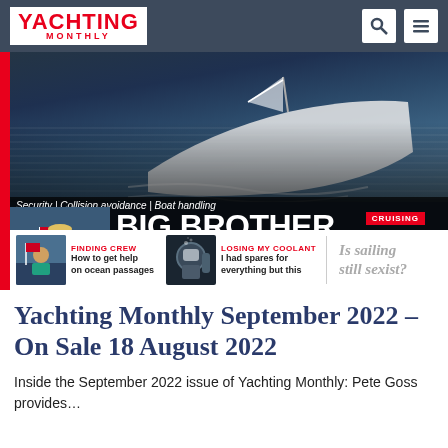YACHTING MONTHLY
[Figure (photo): Yachting Monthly September 2022 magazine cover featuring a sailboat on ocean, headline BIG BROTHER ON BOARD, camera tech to keep you safe, with sections on Finding Crew, Losing My Coolant, Is sailing still sexist?, Cruising features including Scottish anchorages, Sailing in the Cyclades, Snakes on a boat!]
Yachting Monthly September 2022 – On Sale 18 August 2022
Inside the September 2022 issue of Yachting Monthly: Pete Goss provides…